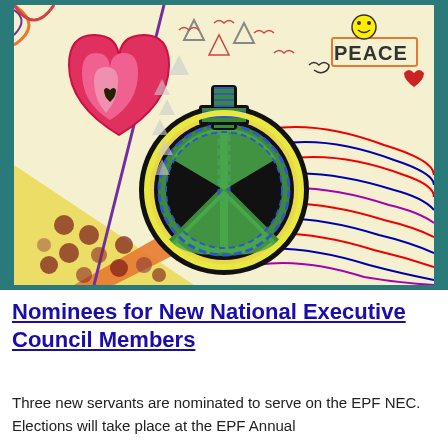[Figure (illustration): Colorful artwork featuring a large peace sign in the center with decorative elements including hearts, triangles, wavy lines, dots, and the word 'PEACE' on a teal background border.]
Nominees for New National Executive Council Members
Three new servants are nominated to serve on the EPF NEC. Elections will take place at the EPF Annual